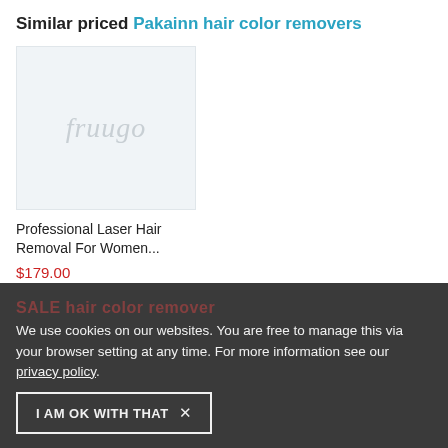Similar priced Pakainn hair color removers
[Figure (photo): Product image placeholder with Fruugo watermark logo on light blue-grey background]
Professional Laser Hair Removal For Women...
$179.00
SALE hair color remover
We use cookies on our websites. You are free to manage this via your browser setting at any time. For more information see our privacy policy.
I AM OK WITH THAT ×